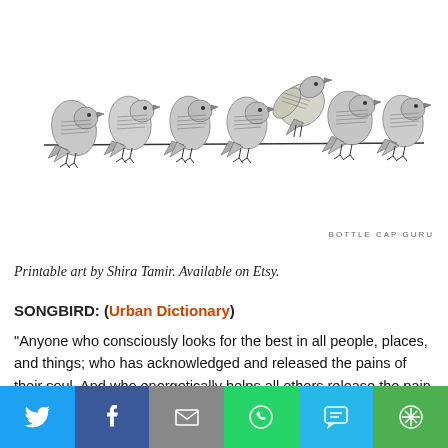[Figure (illustration): Seven birds made from sheet music paper sitting on a wire, printable art by Shira Tamir. Watermark reads BOTTLE CAP GURU in bottom right.]
Printable art by Shira Tamir. Available on Etsy.
SONGBIRD: (Urban Dictionary)
“Anyone who consciously looks for the best in all people, places, and things; who has acknowledged and released the pains of their soul. And who energetically helps all others release the pain of their souls so that the Healing of The
Twitter | Facebook | Email | WhatsApp | SMS | More